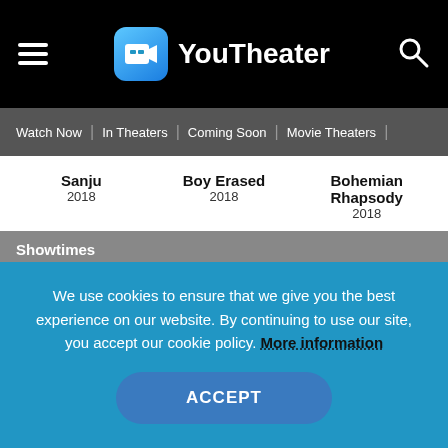YouTheater
Watch Now | In Theaters | Coming Soon | Movie Theaters |
Sanju 2018   Boy Erased 2018   Bohemian Rhapsody 2018
| Showtimes |  |
| --- | --- |
| USA | Friday, 20 March 2020 |
Connections
We use cookies to ensure that we give you the best experience on our website. By continuing to use our site, you accept our cookie policy. More information
ACCEPT